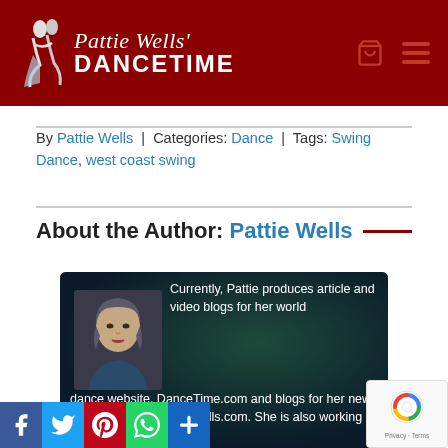Pattie Wells' DANCETIME
By Pattie Wells | Categories: Dance | Tags: Swing Dance, west coast swing
About the Author: Pattie Wells
[Figure (photo): Author bio card with photo of Pattie Wells on a dark teal/navy background. Bio text reads: Currently, Pattie produces article and video blogs for her world dance website, DanceTime.com and blogs for her new writing resource w...ieWells.com. She is also working on completing a linked]
[Figure (other): Social share bar with Facebook, Twitter, Pinterest, WhatsApp, and More buttons along the bottom of the page]